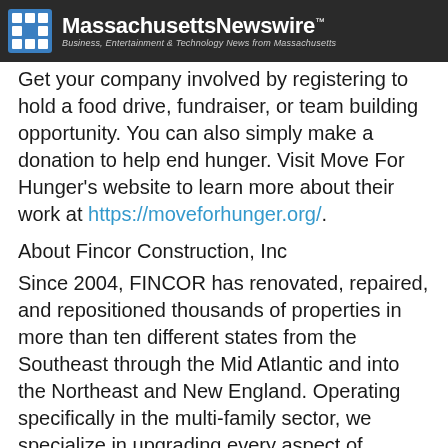Massachusetts Newswire™ — Business, Entertainment & Technology News from Massachusetts
Get your company involved by registering to hold a food drive, fundraiser, or team building opportunity. You can also simply make a donation to help end hunger. Visit Move For Hunger's website to learn more about their work at https://moveforhunger.org/.
About Fincor Construction, Inc
Since 2004, FINCOR has renovated, repaired, and repositioned thousands of properties in more than ten different states from the Southeast through the Mid Atlantic and into the Northeast and New England. Operating specifically in the multi-family sector, we specialize in upgrading every aspect of